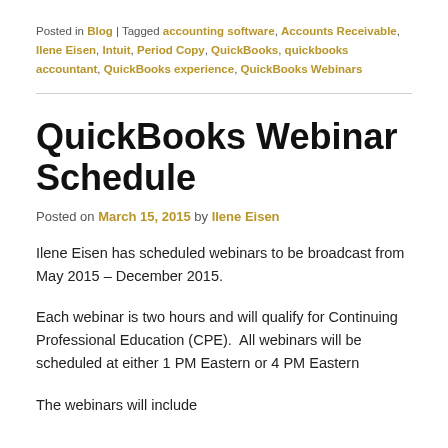Posted in Blog | Tagged accounting software, Accounts Receivable, Ilene Eisen, Intuit, Period Copy, QuickBooks, quickbooks accountant, QuickBooks experience, QuickBooks Webinars
QuickBooks Webinar Schedule
Posted on March 15, 2015 by Ilene Eisen
Ilene Eisen has scheduled webinars to be broadcast from May 2015 – December 2015.
Each webinar is two hours and will qualify for Continuing Professional Education (CPE).  All webinars will be scheduled at either 1 PM Eastern or 4 PM Eastern
The webinars will include